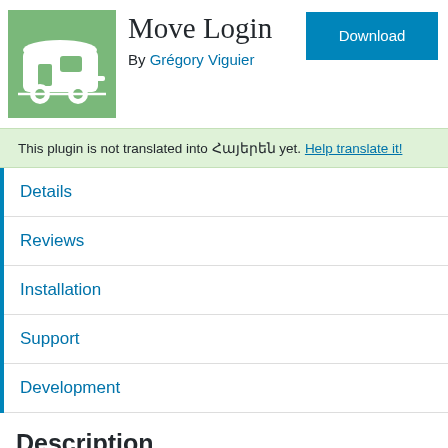[Figure (logo): Green square plugin icon with a white caravan/trailer illustration]
Move Login
By Grégory Viguier
Download
This plugin is not translated into Հայերեն yet. Help translate it!
Details
Reviews
Installation
Support
Development
Description
This plugin forbids access to https://example.com/wp-